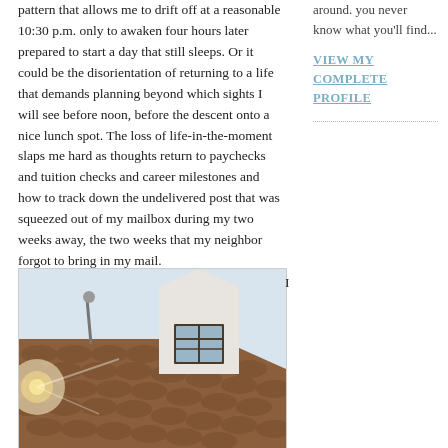pattern that allows me to drift off at a reasonable 10:30 p.m. only to awaken four hours later prepared to start a day that still sleeps. Or it could be the disorientation of returning to a life that demands planning beyond which sights I will see before noon, before the descent onto a nice lunch spot. The loss of life-in-the-moment slaps me hard as thoughts return to paychecks and tuition checks and career milestones and how to track down the undelivered post that was squeezed out of my mailbox during my two weeks away, the two weeks that my neighbor forgot to bring in my mail.
[Figure (photo): Photograph of a traditional Dutch-style building rooftop with terracotta roof tiles, a white gabled dormer with a small window, and a decorative finial. Sun flare visible on the left side.]
I
around. you never know what you'll find...
VIEW MY COMPLETE PROFILE